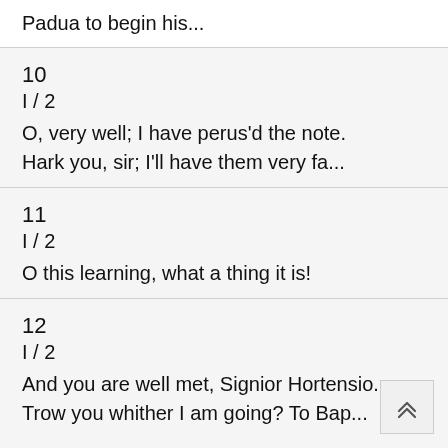Padua to begin his...
10
I / 2
O, very well; I have perus'd the note.
Hark you, sir; I'll have them very fa...
11
I / 2
O this learning, what a thing it is!
12
I / 2
And you are well met, Signior Hortensio.
Trow you whither I am going? To Bap...